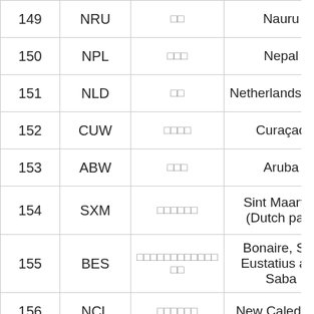| # | Code | Local Name | English Name |
| --- | --- | --- | --- |
| 149 | NRU | □□ | Nauru |
| 150 | NPL | □□□ | Nepal |
| 151 | NLD | □□ | Netherlands (the) |
| 152 | CUW | □□□□ | Curaçao |
| 153 | ABW | □□□ | Aruba |
| 154 | SXM | □□□□□□ | Sint Maarten (Dutch part) |
| 155 | BES | □□□□□□□□□□□□□□ | Bonaire, Sint Eustatius and Saba |
| 156 | NCL | □□□□□□ | New Caledonia |
| 157 | VUT | □□□□ | Vanuatu |
| 158 | NZL | □□□ | New Zealand |